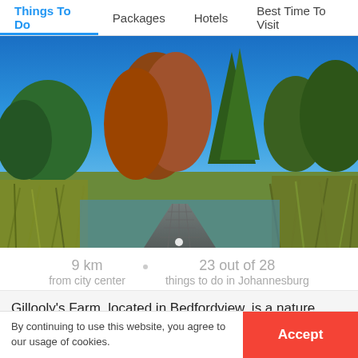Things To Do | Packages | Hotels | Best Time To Visit
[Figure (photo): Outdoor nature scene at Gillooly's Farm, Bedfordview, Johannesburg. Shows trees with autumn foliage, a paved pathway, reed plants, and a pond area under a clear blue sky.]
9 km from city center · 23 out of 28 things to do in Johannesburg
Gillooly's Farm, located in Bedfordview, is a nature retreat
By continuing to use this website, you agree to our usage of cookies.